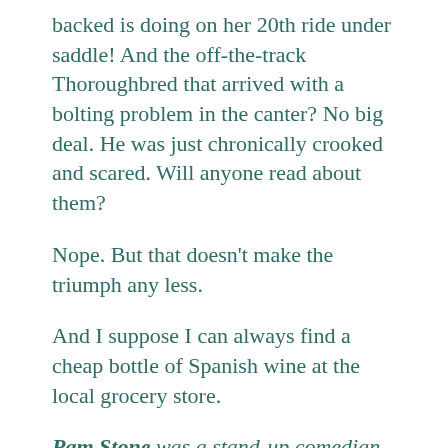backed is doing on her 20th ride under saddle! And the off-the-track Thoroughbred that arrived with a bolting problem in the canter? No big deal. He was just chronically crooked and scared. Will anyone read about them?
Nope. But that doesn't make the triumph any less.
And I suppose I can always find a cheap bottle of Spanish wine at the local grocery store.
Pam Stone was a stand-up comedian before committing to dressage full time and earning her USDF bronze and silver medals. She teaches and trains from her Stone's Throw...